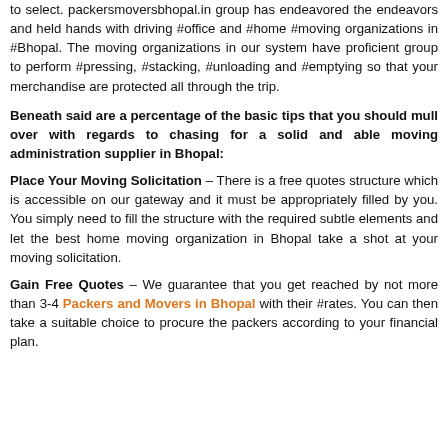to select. packersmoversbhopal.in group has endeavored the endeavors and held hands with driving #office and #home #moving organizations in #Bhopal. The moving organizations in our system have proficient group to perform #pressing, #stacking, #unloading and #emptying so that your merchandise are protected all through the trip.
Beneath said are a percentage of the basic tips that you should mull over with regards to chasing for a solid and able moving administration supplier in Bhopal:
Place Your Moving Solicitation – There is a free quotes structure which is accessible on our gateway and it must be appropriately filled by you. You simply need to fill the structure with the required subtle elements and let the best home moving organization in Bhopal take a shot at your moving solicitation.
Gain Free Quotes – We guarantee that you get reached by not more than 3-4 Packers and Movers in Bhopal with their #rates. You can then take a suitable choice to procure the packers according to your financial plan.